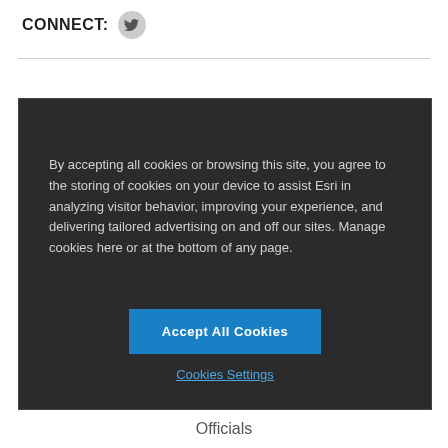CONNECT:
By accepting all cookies or browsing this site, you agree to the storing of cookies on your device to assist Esri in analyzing visitor behavior, improving your experience, and delivering tailored advertising on and off our sites. Manage cookies here or at the bottom of any page.
Accept All Cookies
Cookies Settings
Officials